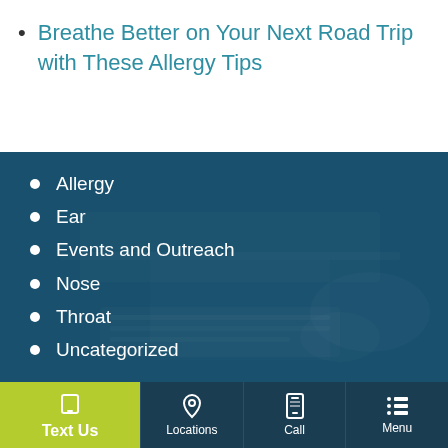Breathe Better on Your Next Road Trip with These Allergy Tips
Allergy
Ear
Events and Outreach
Nose
Throat
Uncategorized
Text Us  Locations  Call  Menu